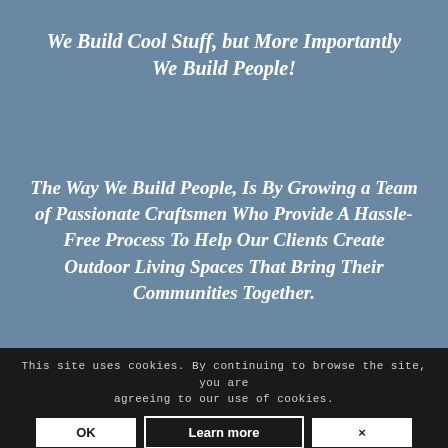We Build Cool Stuff, but More Importantly We Build People!
The Way We Build People, Is By Growing a Team of Passionate Craftsmen Who Provide A Hassle-Free Process To Help Our Clients Create Outdoor Living Spaces That Bring Their Communities Together.
This site uses cookies. By continuing to browse the site, you are agreeing to our use of cookies.